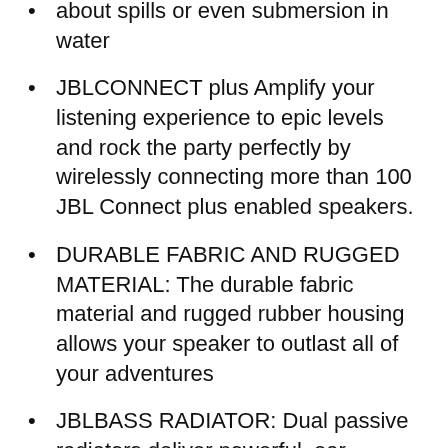about spills or even submersion in water
JBLCONNECT plus Amplify your listening experience to epic levels and rock the party perfectly by wirelessly connecting more than 100 JBL Connect plus enabled speakers.
DURABLE FABRIC AND RUGGED MATERIAL: The durable fabric material and rugged rubber housing allows your speaker to outlast all of your adventures
JBLBASS RADIATOR: Dual passive radiators deliver powerful, ear catching JBL sound that resonates loud and clear.